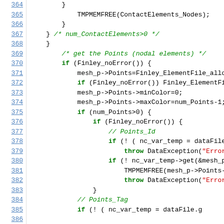[Figure (screenshot): Source code listing lines 364-386, C++ code for reading mesh points from a file, with line numbers on the left in blue underlined text and syntax-highlighted code on the right.]